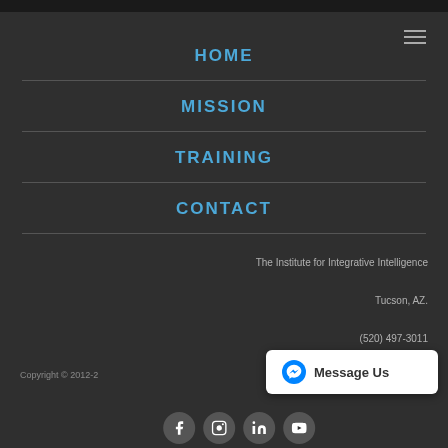HOME
MISSION
TRAINING
CONTACT
The Institute for Integrative Intelligence
Tucson, AZ.
(520) 497-3011
Copyright © 2012-2
[Figure (other): Message Us button with Facebook Messenger icon]
[Figure (other): Social media icons: Facebook, Instagram, LinkedIn, YouTube]